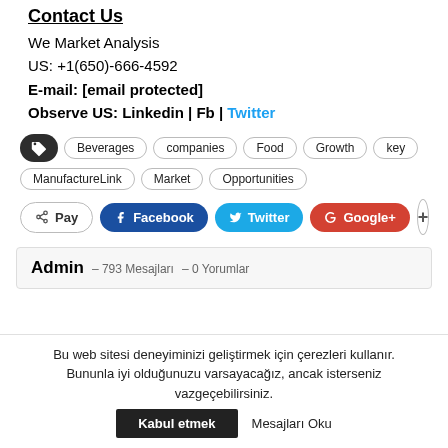Contact Us
We Market Analysis
US: +1(650)-666-4592
E-mail: [email protected]
Observe US: Linkedin | Fb | Twitter
Beverages  companies  Food  Growth  key  ManufactureLink  Market  Opportunities
Pay  Facebook  Twitter  Google+  +
Admin  –  793 Mesajları  –  0 Yorumlar
Bu web sitesi deneyiminizi geliştirmek için çerezleri kullanır. Bununla iyi olduğunuzu varsayacağız, ancak isterseniz vazgeçebilirsiniz.  Kabul etmek  Mesajları Oku